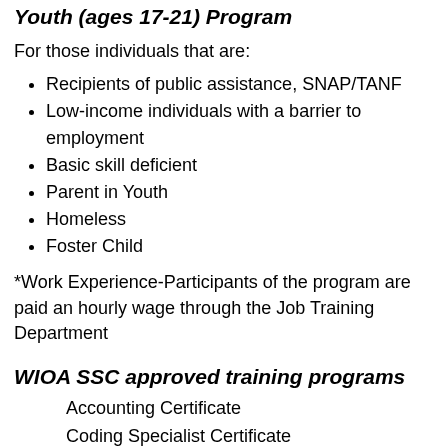Youth (ages 17-21) Program
For those individuals that are:
Recipients of public assistance, SNAP/TANF
Low-income individuals with a barrier to employment
Basic skill deficient
Parent in Youth
Homeless
Foster Child
*Work Experience-Participants of the program are paid an hourly wage through the Job Training Department
WIOA SSC approved training programs
Accounting Certificate
Coding Specialist Certificate
Community Health Worker Certificate
Computer Information systems Certificate-CISCO Network